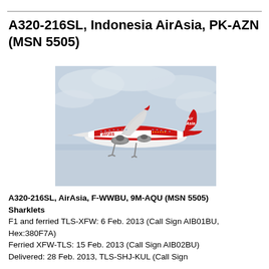A320-216SL, Indonesia AirAsia, PK-AZN (MSN 5505)
[Figure (photo): AirAsia A320 aircraft in flight, red and white livery with AirAsia branding, blue-grey sky background]
A320-216SL, AirAsia, F-WWBU, 9M-AQU (MSN 5505) Sharklets
F1 and ferried TLS-XFW: 6 Feb. 2013 (Call Sign AIB01BU, Hex:380F7A)
Ferried XFW-TLS: 15 Feb. 2013 (Call Sign AIB02BU)
Delivered: 28 Feb. 2013, TLS-SHJ-KUL (Call Sign